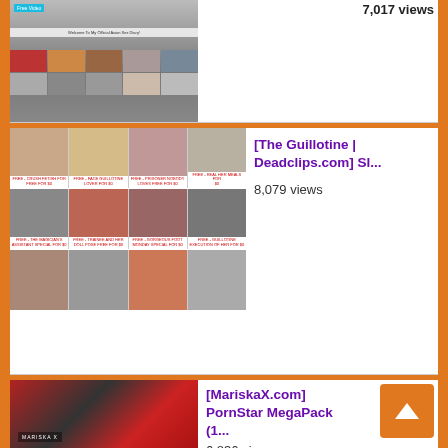[Figure (screenshot): Partial top card showing a website screenshot thumbnail with views count '7,017 views']
7,017 views
[Figure (screenshot): Card with grid of video thumbnails for '[The Guillotine | Deadclips.com] Sl...' with 8,079 views]
[The Guillotine | Deadclips.com] Sl...
8,079 views
[Figure (screenshot): Card with thumbnail collage for '[MariskaX.com] PornStar MegaPack (1...' with 6,836 views]
[MariskaX.com] PornStar MegaPack (1...
6,836 views